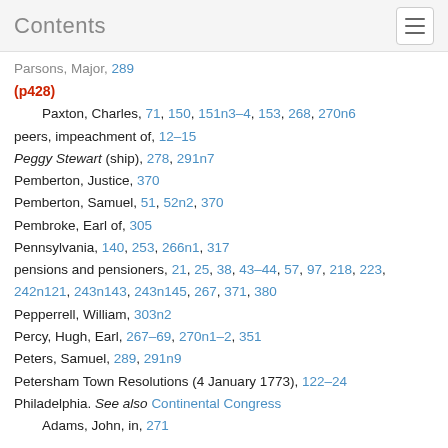Contents
Parsons, Major, 289
(p428)
Paxton, Charles, 71, 150, 151n3–4, 153, 268, 270n6
peers, impeachment of, 12–15
Peggy Stewart (ship), 278, 291n7
Pemberton, Justice, 370
Pemberton, Samuel, 51, 52n2, 370
Pembroke, Earl of, 305
Pennsylvania, 140, 253, 266n1, 317
pensions and pensioners, 21, 25, 38, 43–44, 57, 97, 218, 223, 242n121, 243n143, 243n145, 267, 371, 380
Pepperrell, William, 303n2
Percy, Hugh, Earl, 267–69, 270n1–2, 351
Peters, Samuel, 289, 291n9
Petersham Town Resolutions (4 January 1773), 122–24
Philadelphia. See also Continental Congress
Adams, John, in, 271